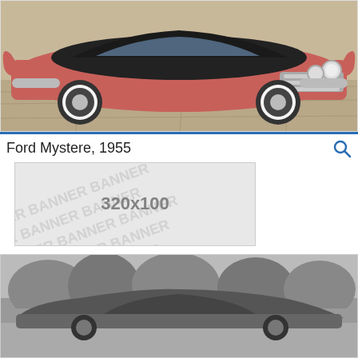[Figure (photo): Color photograph of a 1955 Ford Mystere concept car in salmon/pink color with black top, chrome accents, and whitewall tires, photographed outdoors on a paved surface.]
Ford Mystere, 1955
[Figure (other): Placeholder banner advertisement image showing '320x100' text with 'BANNER' watermark pattern repeated across the background.]
[Figure (photo): Black and white photograph of a sleek low-profile concept car photographed outdoors with trees in background.]